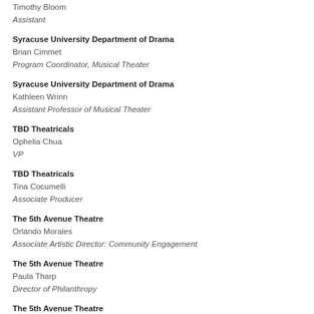Timothy Bloom
Assistant
Syracuse University Department of Drama
Brian Cimmet
Program Coordinator, Musical Theater
Syracuse University Department of Drama
Kathleen Wrinn
Assistant Professor of Musical Theater
TBD Theatricals
Ophelia Chua
VP
TBD Theatricals
Tina Cocumelli
Associate Producer
The 5th Avenue Theatre
Orlando Morales
Associate Artistic Director: Community Engagement
The 5th Avenue Theatre
Paula Tharp
Director of Philanthropy
The 5th Avenue Theatre